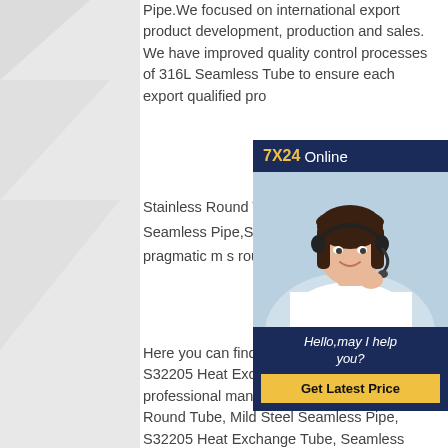Pipe.We focused on international export product development, production and sales. We have improved quality control processes of 316L Seamless Tube to ensure each export qualified pro...
Stainless Round Tube,Mild Steel Seamless Pipe,S32205 Heat best, pragmatic m s round pipe tube 4
[Figure (infographic): 7X24 Online chat widget with a customer service representative wearing a headset, navy blue background, with 'Hello,may I help you?' message and a 'Get Latest Price' yellow button]
Here you can find the related pro... S32205 Heat Exchange Tube, we... professional manufacturer of Stainless Round Tube, Mild Steel Seamless Pipe, S32205 Heat Exchange Tube, Seamless Pipe Distributors. We focused on international export product development, production and sales. We have improved quality control processes of S32205 Heat